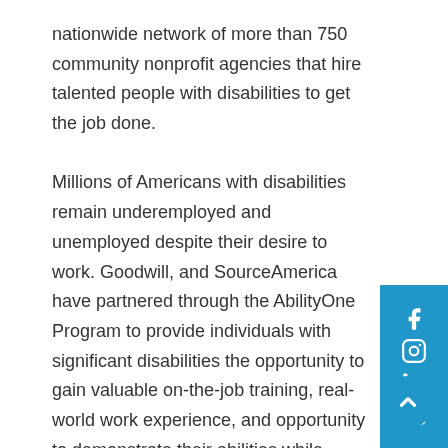nationwide network of more than 750 community nonprofit agencies that hire talented people with disabilities to get the job done.

Millions of Americans with disabilities remain underemployed and unemployed despite their desire to work. Goodwill, and SourceAmerica have partnered through the AbilityOne Program to provide individuals with significant disabilities the opportunity to gain valuable on-the-job training, real-world work experience, and opportunity to demonstrate their abilities while earning competitive wages and benefits. It's a business solution that makes the American Dream more accessible, and it's one we can all feel good about.
[Figure (infographic): Blue vertical social media sidebar with Facebook, Instagram, LinkedIn, and YouTube icons, plus a circular blue scroll-to-top button]